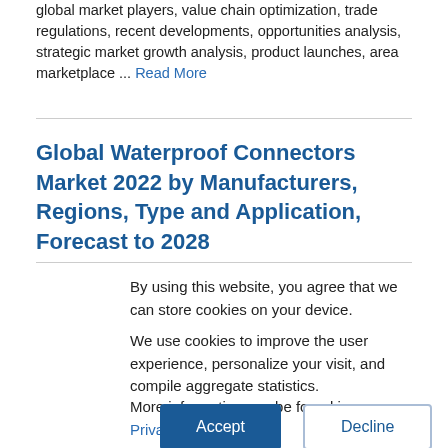global market players, value chain optimization, trade regulations, recent developments, opportunities analysis, strategic market growth analysis, product launches, area marketplace ... Read More
Global Waterproof Connectors Market 2022 by Manufacturers, Regions, Type and Application, Forecast to 2028
By using this website, you agree that we can store cookies on your device.
We use cookies to improve the user experience, personalize your visit, and compile aggregate statistics.
More information can be found in our Privacy Policy .